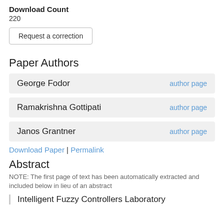Download Count
220
Request a correction
Paper Authors
George Fodor
author page
Ramakrishna Gottipati
author page
Janos Grantner
author page
Download Paper | Permalink
Abstract
NOTE: The first page of text has been automatically extracted and included below in lieu of an abstract
Intelligent Fuzzy Controllers Laboratory